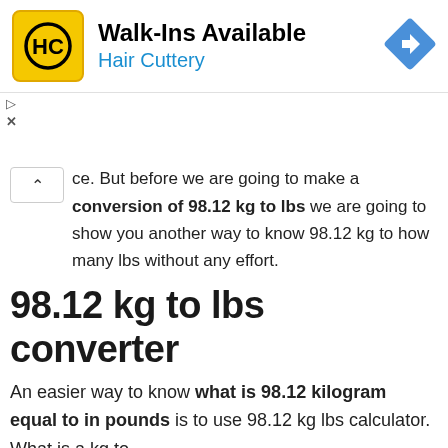[Figure (advertisement): Hair Cuttery ad banner with logo, 'Walk-Ins Available' heading, blue subtitle 'Hair Cuttery', and blue diamond direction arrow icon. Small play and X controls at lower left.]
ce. But before we are going to make a conversion of 98.12 kg to lbs we are going to show you another way to know 98.12 kg to how many lbs without any effort.
98.12 kg to lbs converter
An easier way to know what is 98.12 kilogram equal to in pounds is to use 98.12 kg lbs calculator. What is a kg to
By browsing our website, you agree to our use of cookies. Find out more by visiting our. Privacy Policy here. [Accept]
can effortless convert 98.12 kg to lbs. You only need to